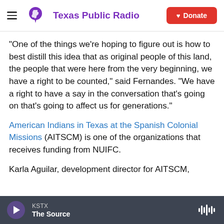Texas Public Radio | Donate
“One of the things we’re hoping to figure out is how to best distill this idea that as original people of this land, the people that were here from the very beginning, we have a right to be counted,” said Fernandes. “We have a right to have a say in the conversation that’s going on that’s going to affect us for generations.”
American Indians in Texas at the Spanish Colonial Missions (AITSCM) is one of the organizations that receives funding from NUIFC.
Karla Aguilar, development director for AITSCM,
KSTX | The Source